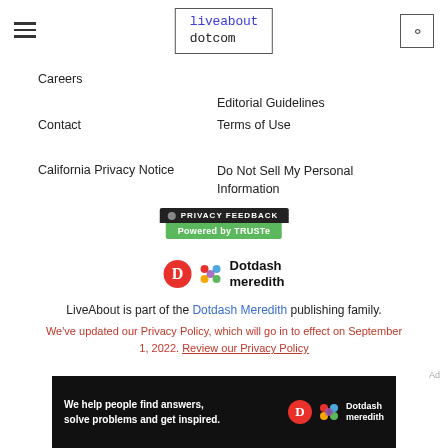[Figure (logo): liveabout dotcom logo in a bordered box]
Careers
Editorial Guidelines
Contact
Terms of Use
California Privacy Notice
Do Not Sell My Personal Information
[Figure (logo): Privacy Feedback powered by TRUSTe badge]
[Figure (logo): Dotdash Meredith logo]
LiveAbout is part of the Dotdash Meredith publishing family.
We've updated our Privacy Policy, which will go in to effect on September 1, 2022. Review our Privacy Policy
Ad
[Figure (illustration): Dotdash Meredith dark banner: We help people find answers, solve problems and get inspired.]